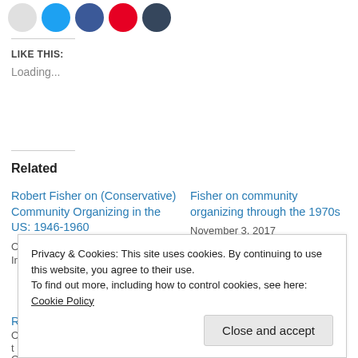[Figure (other): Social sharing icons: email (grey circle), Twitter (blue circle), Facebook (dark blue circle), Pinterest (red circle), Tumblr (dark grey circle)]
LIKE THIS:
Loading...
Related
Robert Fisher on (Conservative) Community Organizing in the US: 1946-1960
October 31, 2017
In "Pillars of Capitalism"
Fisher on community organizing through the 1970s
November 3, 2017
In "Struggle & Movement"
Privacy & Cookies: This site uses cookies. By continuing to use this website, you agree to their use.
To find out more, including how to control cookies, see here: Cookie Policy
Close and accept